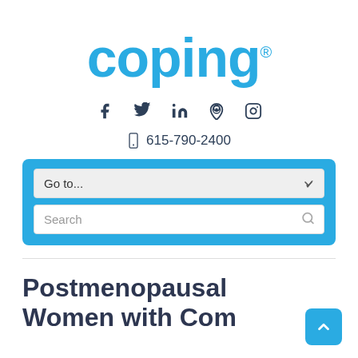coping®
f  Twitter  in  Pinterest  Instagram
📱 615-790-2400
[Figure (screenshot): Navigation dropdown labeled 'Go to...' and a search box labeled 'Search' inside a blue rounded rectangle container]
Postmenopausal Women with Common